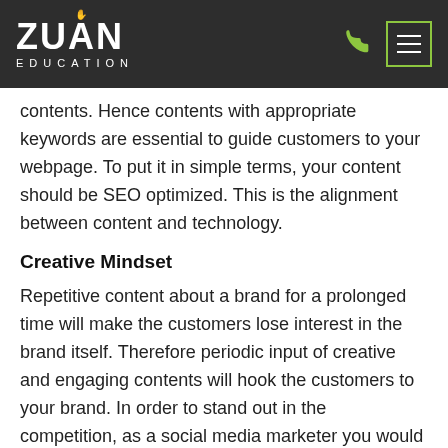[Figure (logo): Zuan Education logo with white text on dark background header, phone icon in green, and hamburger menu button with green border]
contents. Hence contents with appropriate keywords are essential to guide customers to your webpage. To put it in simple terms, your content should be SEO optimized. This is the alignment between content and technology.
Creative Mindset
Repetitive content about a brand for a prolonged time will make the customers lose interest in the brand itself. Therefore periodic input of creative and engaging contents will hook the customers to your brand. In order to stand out in the competition, as a social media marketer you would need to constantly engage your mind to